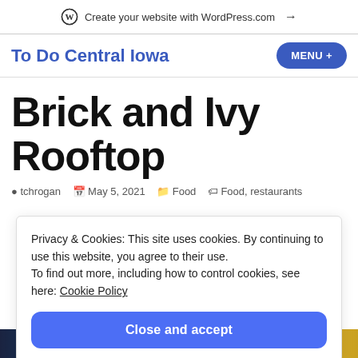Create your website with WordPress.com →
To Do Central Iowa
Brick and Ivy Rooftop
tchrogan   May 5, 2021   Food   Food, restaurants
Privacy & Cookies: This site uses cookies. By continuing to use this website, you agree to their use. To find out more, including how to control cookies, see here: Cookie Policy
Close and accept